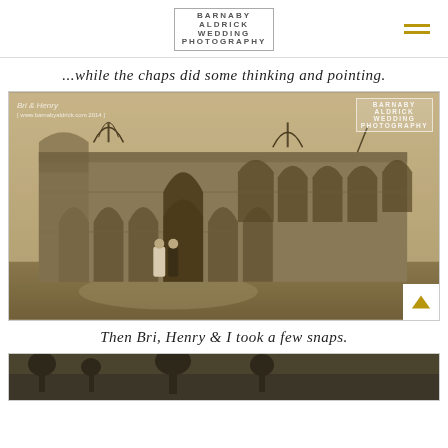BARNABY ALDRICK WEDDING PHOTOGRAPHY
...while the chaps did some thinking and pointing.
[Figure (photo): Sepia-toned photograph of a bride and groom walking in front of the ruins of a large stone abbey or cathedral with Gothic arched windows and walls. Bare trees visible in background. Barnaby Aldrick Wedding Photography watermark in top corners with 'Bri & Henry' text.]
Then Bri, Henry & I took a few snaps.
[Figure (photo): Partial view of another photograph at the bottom of the page, appears dark/silhouetted landscape.]